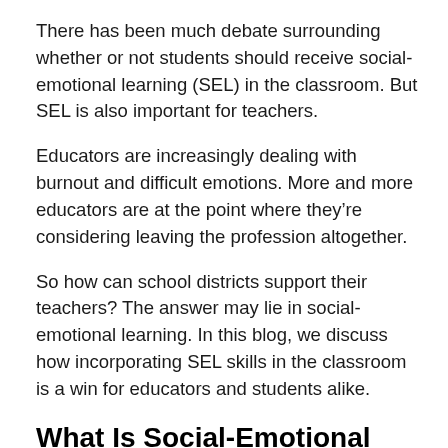There has been much debate surrounding whether or not students should receive social-emotional learning (SEL) in the classroom. But SEL is also important for teachers.
Educators are increasingly dealing with burnout and difficult emotions. More and more educators are at the point where they're considering leaving the profession altogether.
So how can school districts support their teachers? The answer may lie in social-emotional learning. In this blog, we discuss how incorporating SEL skills in the classroom is a win for educators and students alike.
What Is Social-Emotional Learning?